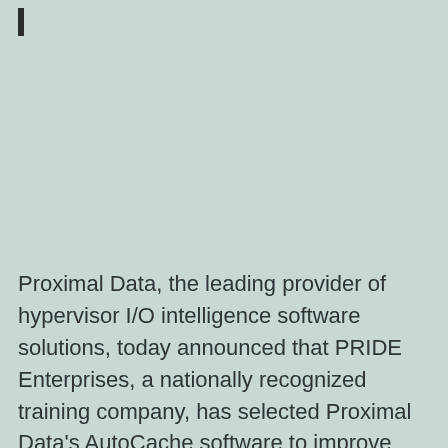Proximal Data, the leading provider of hypervisor I/O intelligence software solutions, today announced that PRIDE Enterprises, a nationally recognized training company, has selected Proximal Data's AutoCache software to improve application responsiveness and